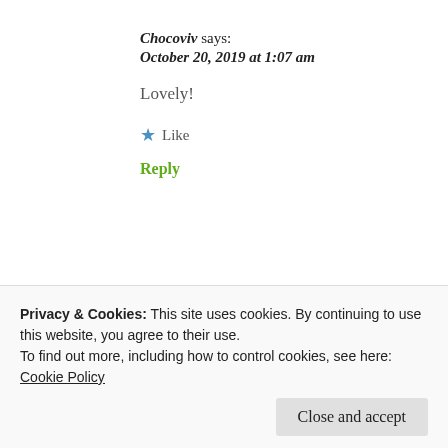Chocoviv says:
October 20, 2019 at 1:07 am
Lovely!
★ Like
Reply
Katharine says:
Privacy & Cookies: This site uses cookies. By continuing to use this website, you agree to their use.
To find out more, including how to control cookies, see here: Cookie Policy
Close and accept